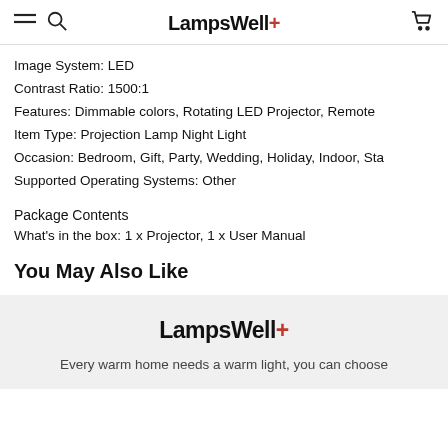LampsWell+
Image System: LED
Contrast Ratio: 1500:1
Features: Dimmable colors, Rotating LED Projector, Remote
Item Type: Projection Lamp Night Light
Occasion: Bedroom, Gift, Party, Wedding, Holiday, Indoor, Sta
Supported Operating Systems: Other
Package Contents
What's in the box: 1 x Projector, 1 x User Manual
You May Also Like
LampsWell+ — Every warm home needs a warm light, you can choose